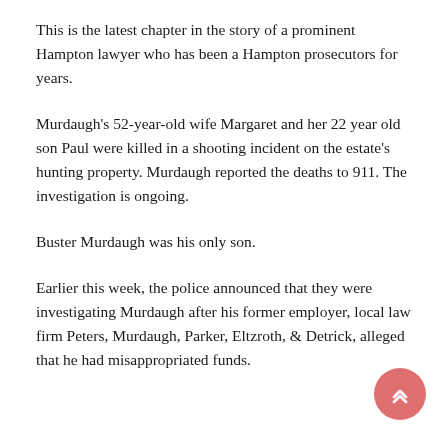This is the latest chapter in the story of a prominent Hampton lawyer who has been a Hampton prosecutors for years.
Murdaugh's 52-year-old wife Margaret and her 22 year old son Paul were killed in a shooting incident on the estate's hunting property. Murdaugh reported the deaths to 911. The investigation is ongoing.
Buster Murdaugh was his only son.
Earlier this week, the police announced that they were investigating Murdaugh after his former employer, local law firm Peters, Murdaugh, Parker, Eltzroth, & Detrick, alleged that he had misappropriated funds.